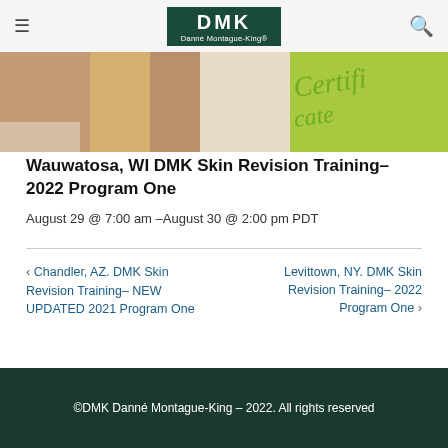DMK Danné Montague-King®
[Figure (photo): Hero image showing a person receiving a skin treatment, with decorative cursive 'Certifie...' text overlay in green]
Wauwatosa, WI DMK Skin Revision Training– 2022 Program One
August 29 @ 7:00 am –August 30 @ 2:00 pm PDT
< Chandler, AZ. DMK Skin Revision Training– NEW UPDATED 2021 Program One
Levittown, NY. DMK Skin Revision Training– 2022 Program One >
©DMK Danné Montague-King – 2022. All rights reserved